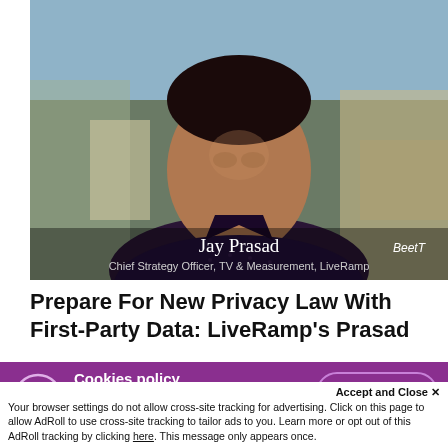[Figure (photo): Photo of Jay Prasad, Chief Strategy Officer TV & Measurement at LiveRamp, smiling man in dark patterned shirt outdoors. BeetT logo visible in bottom right corner of image.]
Prepare For New Privacy Law With First-Party Data: LiveRamp's Prasad
Cookies policy
Our website uses cookies to analyse how the site is used and to ensure your experience is consistent between visits.
Accept and Close ✕
Your browser settings do not allow cross-site tracking for advertising. Click on this page to allow AdRoll to use cross-site tracking to tailor ads to you. Learn more or opt out of this AdRoll tracking by clicking here. This message only appears once.